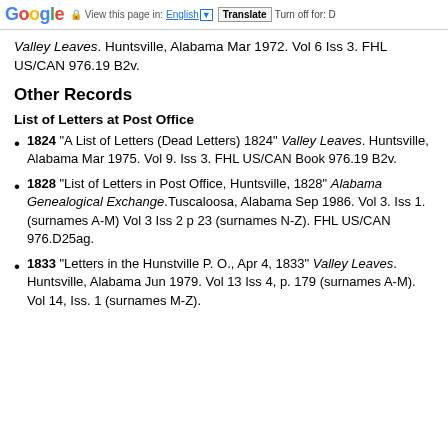Google  View this page in: English  Translate  Turn off for: D
Valley Leaves. Huntsville, Alabama Mar 1972. Vol 6 Iss 3. FHL US/CAN 976.19 B2v.
Other Records
List of Letters at Post Office
1824 "A List of Letters (Dead Letters) 1824" Valley Leaves. Huntsville, Alabama Mar 1975. Vol 9. Iss 3. FHL US/CAN Book 976.19 B2v.
1828 "List of Letters in Post Office, Huntsville, 1828" Alabama Genealogical Exchange.Tuscaloosa, Alabama Sep 1986. Vol 3. Iss 1.(surnames A-M) Vol 3 Iss 2 p 23 (surnames N-Z). FHL US/CAN 976.D25ag.
1833 "Letters in the Hunstville P. O., Apr 4, 1833" Valley Leaves. Huntsville, Alabama Jun 1979. Vol 13 Iss 4, p. 179 (surnames A-M). Vol 14, Iss. 1 (surnames M-Z).